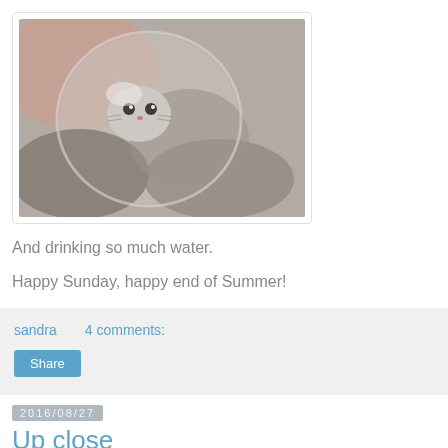[Figure (photo): Close-up photo of a small kitten with dusty grey fur, viewed through a glass or cup held by a human hand. The kitten appears to be inside the cup surrounded by dust and debris.]
And drinking so much water.
Happy Sunday, happy end of Summer!
sandra     4 comments:
Share
2016/08/27
Up close